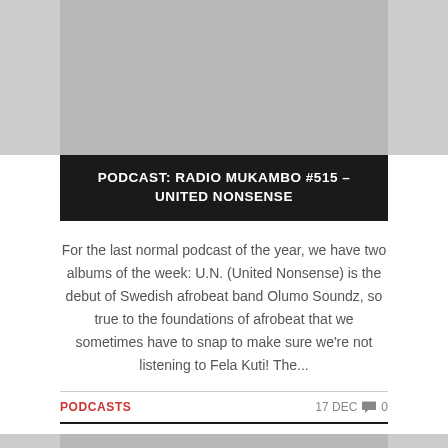[Figure (photo): Gray placeholder image at the top of the page]
PODCAST: RADIO MUKAMBO #515 – UNITED NONSENSE
For the last normal podcast of the year, we have two albums of the week: U.N. (United Nonsense) is the debut of Swedish afrobeat band Olumo Soundz, so true to the foundations of afrobeat that we sometimes have to snap to make sure we're not listening to Fela Kuti! The...
PODCASTS    17 DEC  💬 0
[Figure (photo): Gray placeholder image at the bottom of the page]